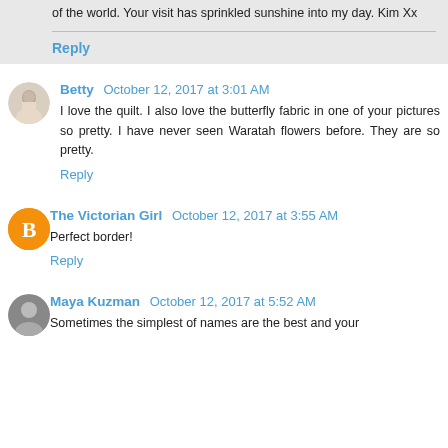of the world. Your visit has sprinkled sunshine into my day. Kim Xx
Reply
Betty  October 12, 2017 at 3:01 AM
I love the quilt. I also love the butterfly fabric in one of your pictures so pretty. I have never seen Waratah flowers before. They are so pretty.
Reply
The Victorian Girl  October 12, 2017 at 3:55 AM
Perfect border!
Reply
Maya Kuzman  October 12, 2017 at 5:52 AM
Sometimes the simplest of names are the best and your